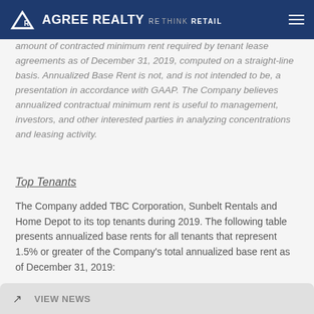AGREE REALTY RETHINK RETAIL
amount of contracted minimum rent required by tenant lease agreements as of December 31, 2019, computed on a straight-line basis. Annualized Base Rent is not, and is not intended to be, a presentation in accordance with GAAP. The Company believes annualized contractual minimum rent is useful to management, investors, and other interested parties in analyzing concentrations and leasing activity.
Top Tenants
The Company added TBC Corporation, Sunbelt Rentals and Home Depot to its top tenants during 2019. The following table presents annualized base rents for all tenants that represent 1.5% or greater of the Company's total annualized base rent as of December 31, 2019: